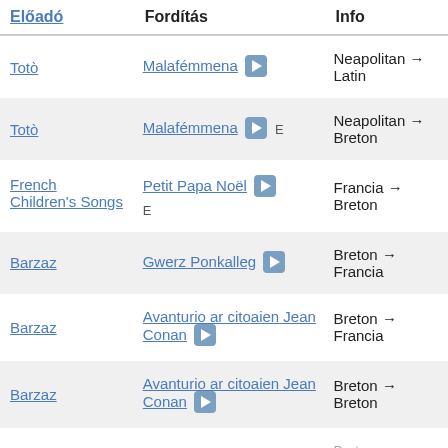| Előadó | Fordítás | Info |
| --- | --- | --- |
| Totò | Malafémmena ▶ | Neapolitan → Latin |
| Totò | Malafémmena ▶ E | Neapolitan → Breton |
| French Children's Songs | Petit Papa Noël ▶ E | Francia → Breton |
| Barzaz | Gwerz Ponkalleg ▶ | Breton → Francia |
| Barzaz | Avanturio ar citoaien Jean Conan ▶ | Breton → Francia |
| Barzaz | Avanturio ar citoaien Jean Conan ▶ | Breton → Breton |
| ... | ... | Breton → Francia |